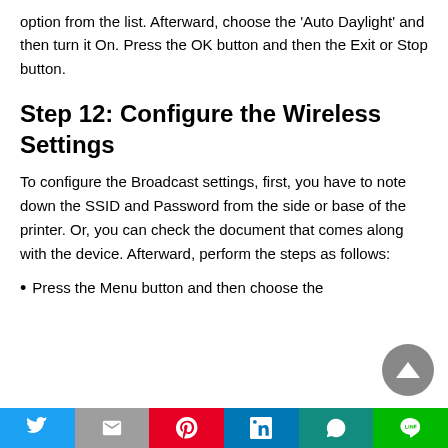option from the list. Afterward, choose the 'Auto Daylight' and then turn it On. Press the OK button and then the Exit or Stop button.
Step 12: Configure the Wireless Settings
To configure the Broadcast settings, first, you have to note down the SSID and Password from the side or base of the printer. Or, you can check the document that comes along with the device. Afterward, perform the steps as follows:
Press the Menu button and then choose the